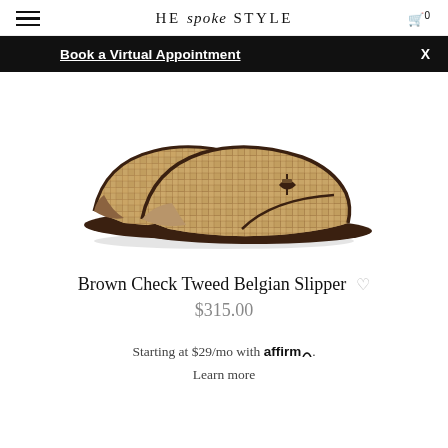HE spoke STYLE
Book a Virtual Appointment  X
[Figure (photo): Pair of Brown Check Tweed Belgian Slipper loafers with a houndstooth/plaid pattern fabric upper and dark brown leather trim, photographed at an angle on a white background.]
Brown Check Tweed Belgian Slipper
$315.00
Starting at $29/mo with affirm. Learn more